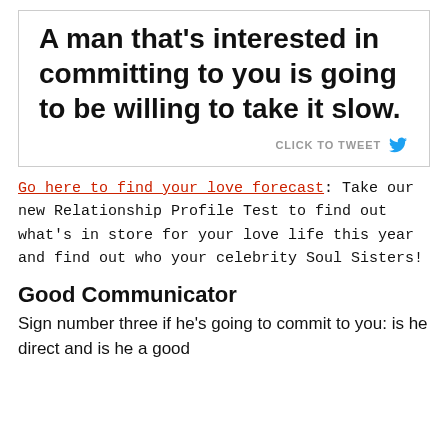[Figure (other): Quote box with bold text: 'A man that's interested in committing to you is going to be willing to take it slow.' with a 'CLICK TO TWEET' link and Twitter bird icon]
Go here to find your love forecast: Take our new Relationship Profile Test to find out what's in store for your love life this year and find out who your celebrity Soul Sisters!
Good Communicator
Sign number three if he's going to commit to you: is he direct and is he a good